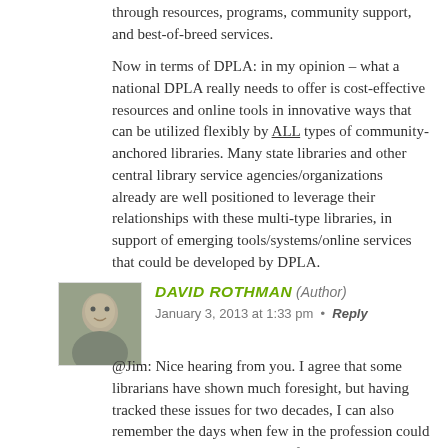through resources, programs, community support, and best-of-breed services.
Now in terms of DPLA: in my opinion – what a national DPLA really needs to offer is cost-effective resources and online tools in innovative ways that can be utilized flexibly by ALL types of community-anchored libraries. Many state libraries and other central library service agencies/organizations already are well positioned to leverage their relationships with these multi-type libraries, in support of emerging tools/systems/online services that could be developed by DPLA.
[Figure (photo): Small avatar photo of a person, David Rothman, appears to be a middle-aged man]
DAVID ROTHMAN (Author)
January 3, 2013 at 1:33 pm • Reply
@Jim: Nice hearing from you. I agree that some librarians have shown much foresight, but having tracked these issues for two decades, I can also remember the days when few in the profession could envision the huge popularity of e-books. Networked online catalogs were amazing enough. And even today, although recent library school grads are more tech-hip than before, the library world abounds with well-meaning people like Front Line Librarian who seem to have mixed feelings about technology...